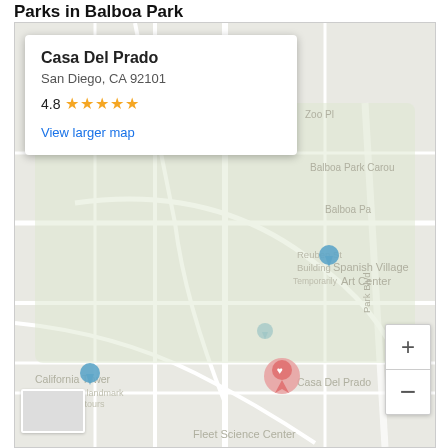Parks in Balboa Park
[Figure (map): Google Map screenshot centered on Casa Del Prado in Balboa Park, San Diego. Shows an info card overlay with the venue name, address, rating, and a link. Map labels include Spanish Village Art Center, California Tower, Fleet Science Center, Casa del Rey Moro Garden, and other landmarks. A pink location pin marks Casa Del Prado. Zoom controls (+/-) are visible in the bottom-right corner. A street-view thumbnail is in the bottom-left corner.]